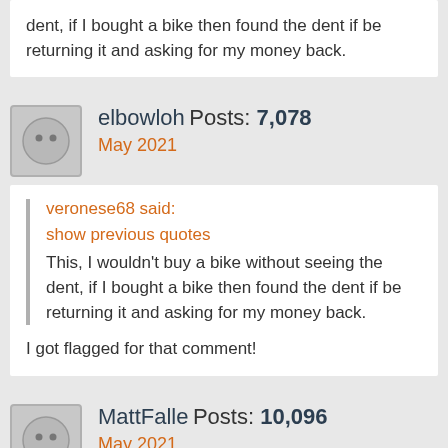dent, if I bought a bike then found the dent if be returning it and asking for my money back.
elbowloh Posts: 7,078
May 2021
veronese68 said:
show previous quotes
This, I wouldn't buy a bike without seeing the dent, if I bought a bike then found the dent if be returning it and asking for my money back.
I got flagged for that comment!
MattFalle Posts: 10,096
May 2021